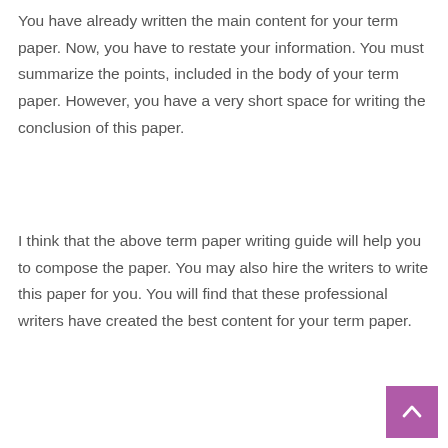You have already written the main content for your term paper. Now, you have to restate your information. You must summarize the points, included in the body of your term paper. However, you have a very short space for writing the conclusion of this paper.
I think that the above term paper writing guide will help you to compose the paper. You may also hire the writers to write this paper for you. You will find that these professional writers have created the best content for your term paper.